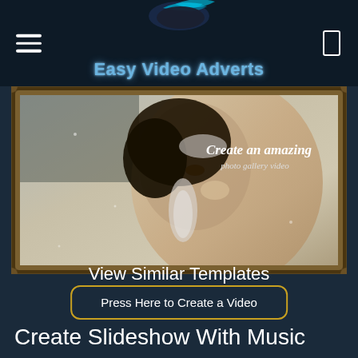Easy Video Adverts
[Figure (screenshot): Hero image showing a woman with jewelry in an ornate picture frame, with overlay text 'Create an amazing photo gallery video']
Create an amazing photo gallery video
Press Here to Create a Video
View Similar Templates
Create Slideshow With Music